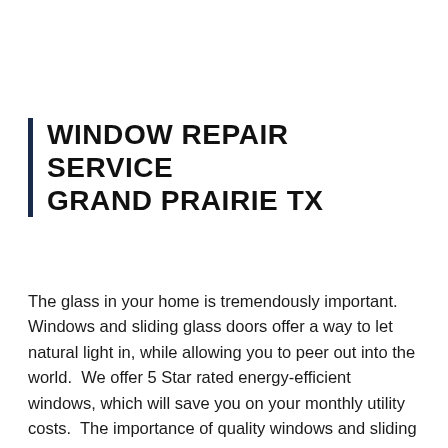WINDOW REPAIR SERVICE GRAND PRAIRIE TX
The glass in your home is tremendously important. Windows and sliding glass doors offer a way to let natural light in, while allowing you to peer out into the world.  We offer 5 Star rated energy-efficient windows, which will save you on your monthly utility costs.  The importance of quality windows and sliding glass doors cannot be understated in the Grand Prairie TX metroplex area and the surrounding suburbs.